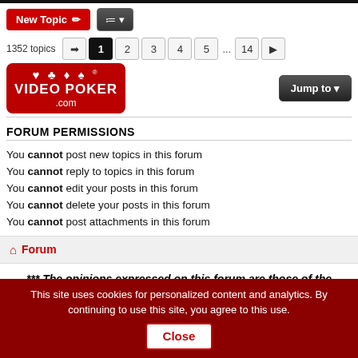[Figure (screenshot): Video Poker .com logo with card suit symbols on red background]
FORUM PERMISSIONS
You cannot post new topics in this forum
You cannot reply to topics in this forum
You cannot edit your posts in this forum
You cannot delete your posts in this forum
You cannot post attachments in this forum
Forum
*** The opinions expressed on this forum are those of the authors and do not represent the official position of Action
Doctors Stunned - Do This Every Evening &
n/a
This site uses cookies for personalized content and analytics. By continuing to use this site, you agree to this use. Close